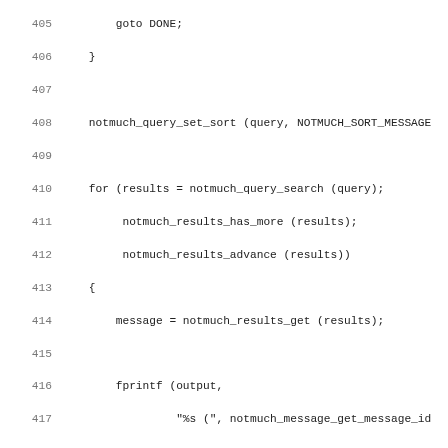Source code listing, lines 405-437, C code using notmuch API